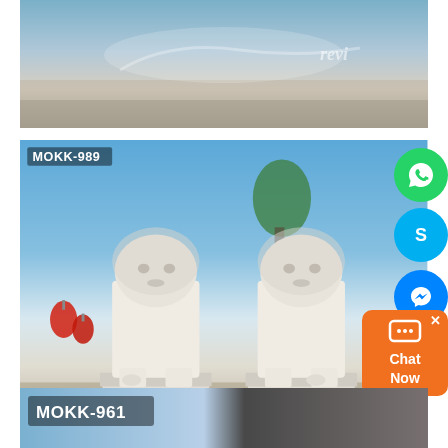[Figure (photo): Top partial photo of a white marble sculptural relief showing a reclining figure, with 'revi' watermark visible]
[Figure (photo): Main photo labeled MOKK-989 showing a pair of white marble Chinese guardian lion (Foo Dog) statues on decorative pedestals, displayed outdoors with blue sky background. Red lanterns visible on left. Social media contact icons (WhatsApp, Skype, Messenger) and Chat Now button overlaid on right side.]
[Figure (photo): Bottom partial photo labeled MOKK-961 showing another marble statue product]